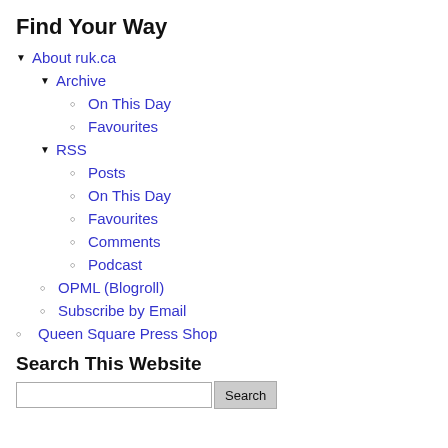Find Your Way
About ruk.ca
Archive
On This Day
Favourites
RSS
Posts
On This Day
Favourites
Comments
Podcast
OPML (Blogroll)
Subscribe by Email
Queen Square Press Shop
Search This Website